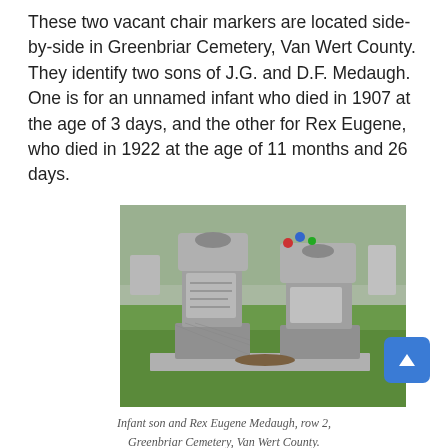These two vacant chair markers are located side-by-side in Greenbriar Cemetery, Van Wert County. They identify two sons of J.G. and D.F. Medaugh. One is for an unnamed infant who died in 1907 at the age of 3 days, and the other for Rex Eugene, who died in 1922 at the age of 11 months and 26 days.
[Figure (photo): Two vacant chair-style grave markers side-by-side on a concrete base in a grassy cemetery. Each marker features a chair-shaped stone with carved details. The left marker has text on it. Green grass surrounds the markers.]
Infant son and Rex Eugene Medaugh, row 2, Greenbriar Cemetery, Van Wert County.